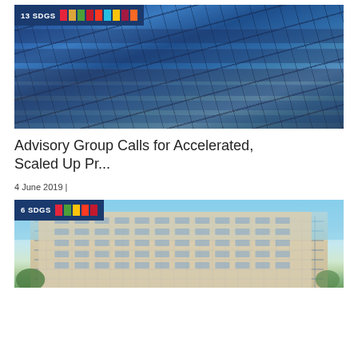[Figure (photo): Aerial view of a large solar panel farm with rows of photovoltaic panels, with a badge showing '13 SDGS' and colorful SDG color blocks in the top left corner]
Advisory Group Calls for Accelerated, Scaled Up Pr...
4 June 2019 |
[Figure (photo): Photo of a large multi-story office/government building with many windows, trees in foreground, with a badge showing '6 SDGS' and colorful SDG color blocks in the top left corner]